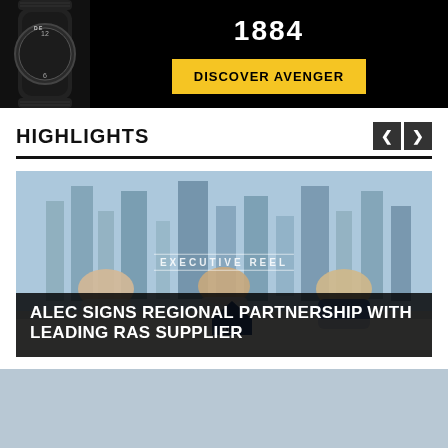[Figure (photo): Advertisement banner for Breitling Avenger watch on black background. Shows a portion of a dark watch with 1884 text and a yellow 'DISCOVER AVENGER' button.]
HIGHLIGHTS
[Figure (photo): Photo of three men seated at a table in a high-rise office with city skyline view. Overlaid text reads 'EXECUTIVE REEL' and 'ALEC SIGNS REGIONAL PARTNERSHIP WITH LEADING RAS SUPPLIER'. ALEC logo visible on table.]
[Figure (photo): Partial view of a light blue/grey image at the bottom of the page, content cut off.]